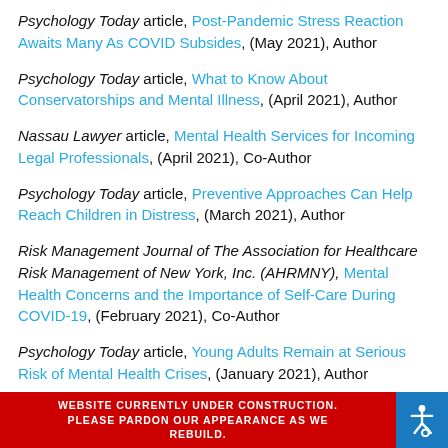Psychology Today article, Post-Pandemic Stress Reaction Awaits Many As COVID Subsides, (May 2021), Author
Psychology Today article, What to Know About Conservatorships and Mental Illness, (April 2021), Author
Nassau Lawyer article, Mental Health Services for Incoming Legal Professionals, (April 2021), Co-Author
Psychology Today article, Preventive Approaches Can Help Reach Children in Distress, (March 2021), Author
Risk Management Journal of The Association for Healthcare Risk Management of New York, Inc. (AHRMNY), Mental Health Concerns and the Importance of Self-Care During COVID-19, (February 2021), Co-Author
Psychology Today article, Young Adults Remain at Serious Risk of Mental Health Crises, (January 2021), Author
WEBSITE CURRENTLY UNDER CONSTRUCTION. PLEASE PARDON OUR APPEARANCE AS WE REBUILD.